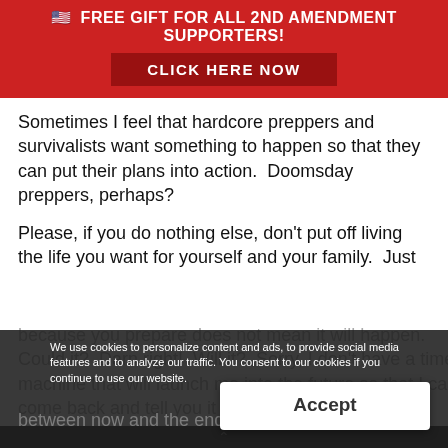🇺🇸 FREE GIFT FOR ALL 2ND AMENDMENT SUPPORTERS! CLICK HERE NOW
Sometimes I feel that hardcore preppers and survivalists want something to happen so that they can put their plans into action.  Doomsday preppers, perhaps?
Please, if you do nothing else, don't put off living the life you want for yourself and your family.  Just because you prepare does not mean it will happen. Could it?  Darn right!  Will it?  Sorry, I don't have a time machine that will launch me into the future so that I can come back and tell you it is so.
This is important and between now and the end of
We use cookies to personalize content and ads, to provide social media features and to analyze our traffic. You consent to our cookies if you continue to use our website.
Accept